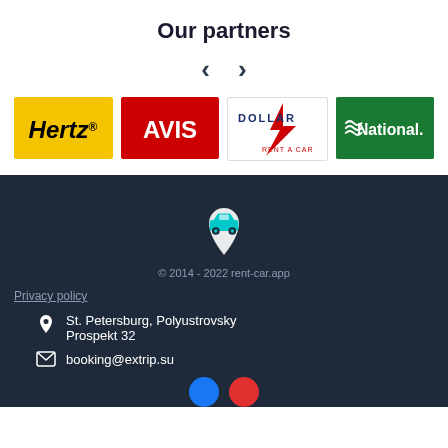Our partners
[Figure (logo): Navigation arrows (left and right chevrons) for partner carousel]
[Figure (logo): Hertz car rental logo - yellow background with black Hertz. text]
[Figure (logo): Avis car rental logo - red background with white AVIS text]
[Figure (logo): Dollar Rent A Car logo - white background with blue DOLLAR text and red lightning bolt]
[Figure (logo): National car rental logo - green background with white National. text and wave icon]
[Figure (logo): rent-car.app logo icon - teal car with white map pin on dark navy background]
© 2014 - 2022 rent-car.app
Privacy policy
St. Petersburg, Polyustrovsky Prospekt 32
booking@extrip.su